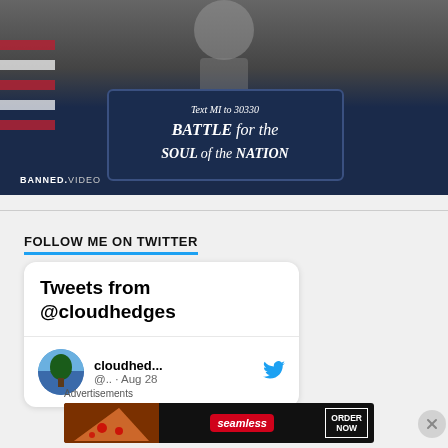[Figure (screenshot): Video thumbnail from bannedvideo showing a campaign sign that reads 'Text MI to 30330 BATTLE for the SOUL of the NATION' with an American flag and person in background]
FOLLOW ME ON TWITTER
[Figure (screenshot): Embedded Twitter widget showing 'Tweets from @cloudhedges' header and a tweet preview with avatar, username 'cloudhed...', handle '@.. · Aug 28', and Twitter bird icon]
Advertisements
[Figure (screenshot): Seamless food delivery advertisement banner showing pizza and 'ORDER NOW' button]